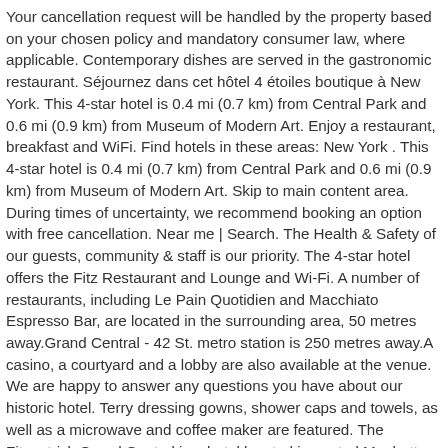Your cancellation request will be handled by the property based on your chosen policy and mandatory consumer law, where applicable. Contemporary dishes are served in the gastronomic restaurant. Séjournez dans cet hôtel 4 étoiles boutique à New York. This 4-star hotel is 0.4 mi (0.7 km) from Central Park and 0.6 mi (0.9 km) from Museum of Modern Art. Enjoy a restaurant, breakfast and WiFi. Find hotels in these areas: New York . This 4-star hotel is 0.4 mi (0.7 km) from Central Park and 0.6 mi (0.9 km) from Museum of Modern Art. Skip to main content area. During times of uncertainty, we recommend booking an option with free cancellation. Near me | Search. The Health & Safety of our guests, community & staff is our priority. The 4-star hotel offers the Fitz Restaurant and Lounge and Wi-Fi. A number of restaurants, including Le Pain Quotidien and Macchiato Espresso Bar, are located in the surrounding area, 50 metres away.Grand Central - 42 St. metro station is 250 metres away.A casino, a courtyard and a lobby are also available at the venue. We are happy to answer any questions you have about our historic hotel. Terry dressing gowns, shower caps and towels, as well as a microwave and coffee maker are featured. The Fitzpatrick Grand Central is a hotel located in central Manhattan, New York City that provides warm Irish hospitality in an elegant atmosphere. Please wait, we're checking available rooms for you. Overcast clouds. Fitzpatrick